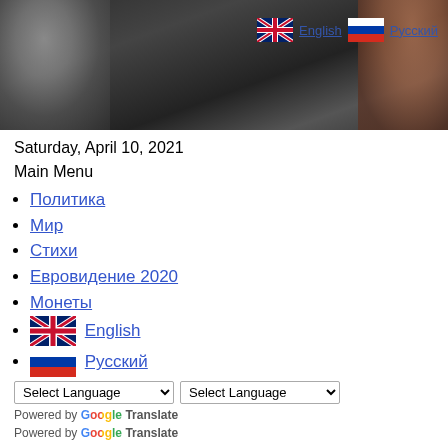[Figure (photo): Header photo of people in dark suits, one wearing a mask, with language selection links (English, Русский) overlaid on the right side]
Saturday, April 10, 2021
Main Menu
Политика
Мир
Стихи
Евровидение 2020
Монеты
English
Русский
Powered by Google Translate
Powered by Google Translate
EU foreign chief to fly to Moscow to condemn Navalny